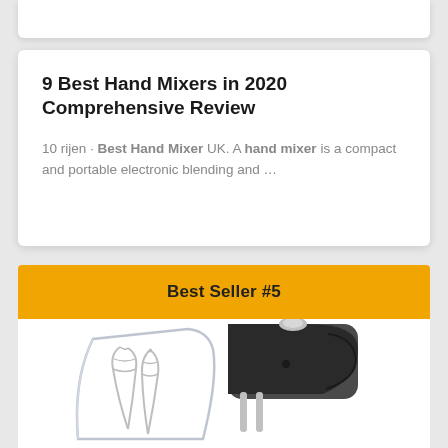9 Best Hand Mixers in 2020 Comprehensive Review
10 rijen · Best Hand Mixer UK. A hand mixer is a compact and portable electronic blending and …
Best Seller #5
[Figure (photo): Photo of a black and silver hand mixer with whisk attachments and a clear bowl/shield accessory]